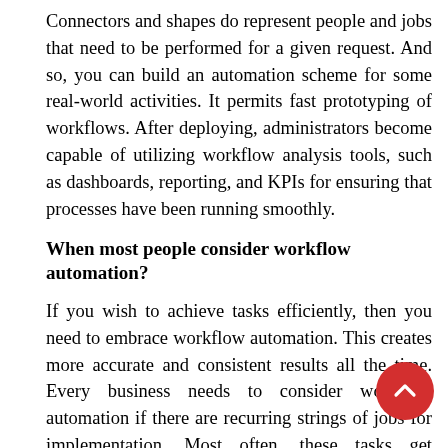Connectors and shapes do represent people and jobs that need to be performed for a given request. And so, you can build an automation scheme for some real-world activities. It permits fast prototyping of workflows. After deploying, administrators become capable of utilizing workflow analysis tools, such as dashboards, reporting, and KPIs for ensuring that processes have been running smoothly.
When most people consider workflow automation?
If you wish to achieve tasks efficiently, then you need to embrace workflow automation. This creates more accurate and consistent results all the time. Every business needs to consider workflow automation if there are recurring strings of jobs for implementation. Most often, these tasks get managed with spreadsheets, paper files, and email. When create workflow automation, then this method becomes streamlined. It also removes the dangers of human mistakes.